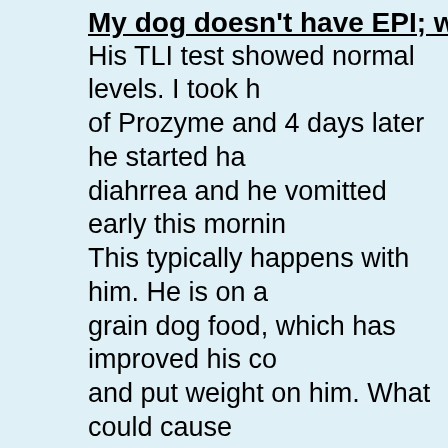My dog doesn't have EPI; what else might i
His TLI test showed normal levels. I took h of Prozyme and 4 days later he started ha diahrrea and he vomitted early this mornin This typically happens with him. He is on a grain dog food, which has improved his co and put weight on him. What could cause need the Prozyme in order not to have dig issues? Is there a less expensive option o than using Prozyme? Are there other tests should have my vet do? My 16month old c has always struggled with this.
My dog has started producing large amoun saliva while eating
my dog has suddenly started producing la amount of saliva while eating,so much tha foams on his mouth. He had a little bad s